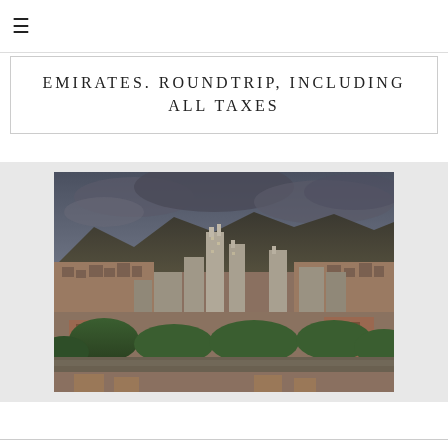≡
EMIRATES. ROUNDTRIP, INCLUDING ALL TAXES
[Figure (photo): HDR photograph of a South American city (likely Medellín, Colombia) skyline with skyscrapers, dense urban buildings on hillsides, lush green trees in foreground, and dramatic cloudy sky with mountains in the background.]